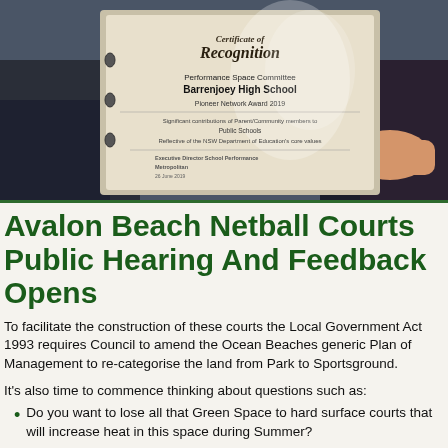[Figure (photo): A person holding a Certificate of Recognition from Performance Space Committee, Barrenjoey High School, Pioneer Network Award 2019, acknowledging significant contributions of Parent/Community members to public schools, reflective of the NSW Department of Education's core values. Signed by Executive Director School Performance Metropolitan and Educational Directors, 26 June 2019.]
Avalon Beach Netball Courts Public Hearing And Feedback Opens
To facilitate the construction of these courts the Local Government Act 1993 requires Council to amend the Ocean Beaches generic Plan of Management to re-categorise the land from Park to Sportsground.
It's also time to commence thinking about questions such as:
Do you want to lose all that Green Space to hard surface courts that will increase heat in this space during Summer?